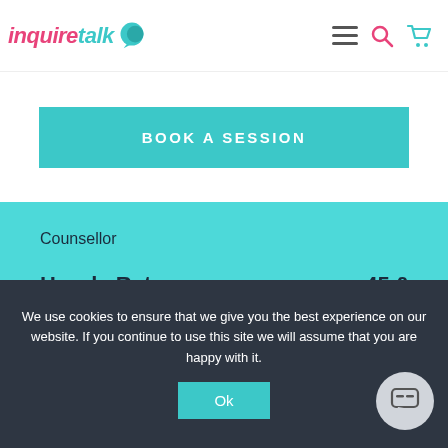[Figure (logo): Inquire Talk logo with speech bubble icon]
[Figure (infographic): Navigation icons: hamburger menu, search, cart]
BOOK A SESSION
Counsellor
Hourly Rate   45 £
Trial Rate   35 £
We use cookies to ensure that we give you the best experience on our website. If you continue to use this site we will assume that you are happy with it.
Ok